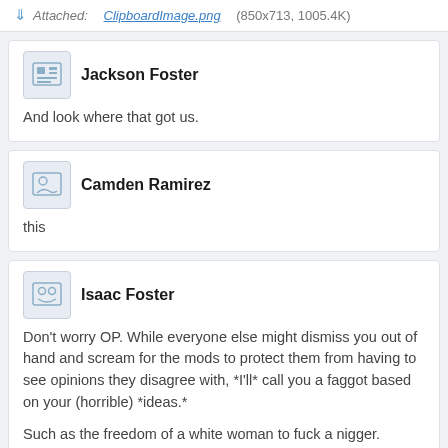Attached: ClipboardImage.png (850x713, 1005.4K)
Jackson Foster
And look where that got us.
Camden Ramirez
this
Isaac Foster
Don't worry OP. While everyone else might dismiss you out of hand and scream for the mods to protect them from having to see opinions they disagree with, *I'll* call you a faggot based on your (horrible) *ideas.*

Such as the freedom of a white woman to fuck a nigger. Whoops your country is a mixed hellhole like brazil. Or the freedom to do hard drugs. Whoops heroin crack and meth are distributed in order to addict and corrupt